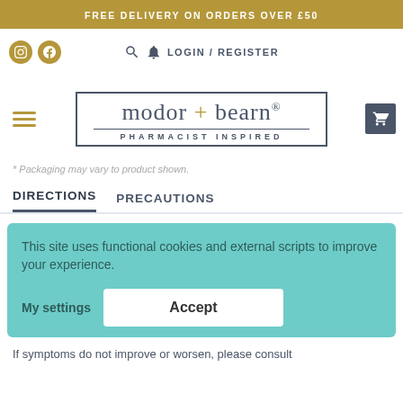FREE DELIVERY ON ORDERS OVER £50
LOGIN / REGISTER
[Figure (logo): modor + bearn® PHARMACIST INSPIRED logo in a rectangular border]
* Packaging may vary to product shown.
DIRECTIONS
PRECAUTIONS
This site uses functional cookies and external scripts to improve your experience.
My settings
Accept
If symptoms do not improve or worsen, please consult